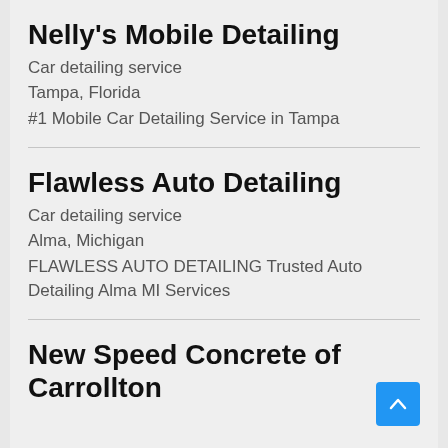Nelly's Mobile Detailing
Car detailing service
Tampa, Florida
#1 Mobile Car Detailing Service in Tampa
Flawless Auto Detailing
Car detailing service
Alma, Michigan
FLAWLESS AUTO DETAILING Trusted Auto Detailing Alma MI Services
New Speed Concrete of Carrollton